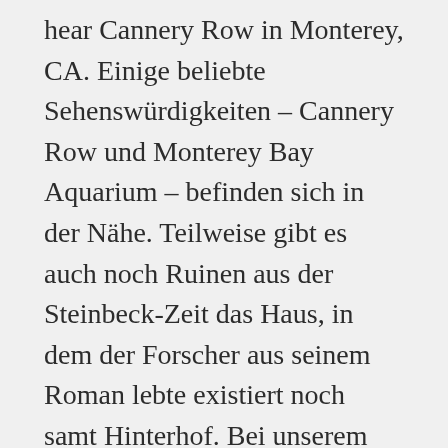hear Cannery Row in Monterey, CA. Einige beliebte Sehenswürdigkeiten – Cannery Row und Monterey Bay Aquarium – befinden sich in der Nähe. Teilweise gibt es auch noch Ruinen aus der Steinbeck-Zeit das Haus, in dem der Forscher aus seinem Roman lebte existiert noch samt Hinterhof. Bei unserem Aufenthalt bummelten wir natürlich auch durch die legendäre Cannery Row. I loved the location. We've collected some of Cannery Row's best must-sees and dos to add to your can't-miss list. Monterey ist eines der ältesten Siedlungsgebiete von Einwanderern in Kalifornien. To book an accessible room, please select the appropriate room type, which can be found below (based on availability).